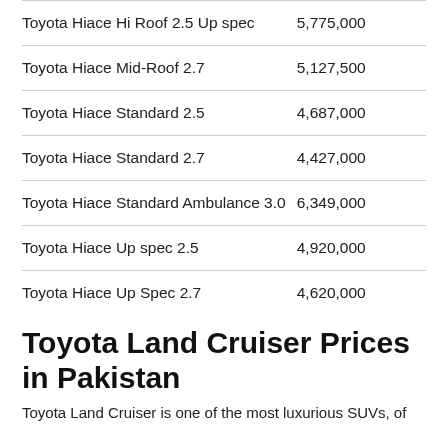| Model | Price |
| --- | --- |
| Toyota Hiace Hi Roof 2.5 Up spec | 5,775,000 |
| Toyota Hiace Mid-Roof 2.7 | 5,127,500 |
| Toyota Hiace Standard 2.5 | 4,687,000 |
| Toyota Hiace Standard 2.7 | 4,427,000 |
| Toyota Hiace Standard Ambulance 3.0 | 6,349,000 |
| Toyota Hiace Up spec 2.5 | 4,920,000 |
| Toyota Hiace Up Spec 2.7 | 4,620,000 |
Toyota Land Cruiser Prices in Pakistan
Toyota Land Cruiser is one of the most luxurious SUVs, of the world. Here is the complete Pakistan, Toyota Land Cruiser prices list